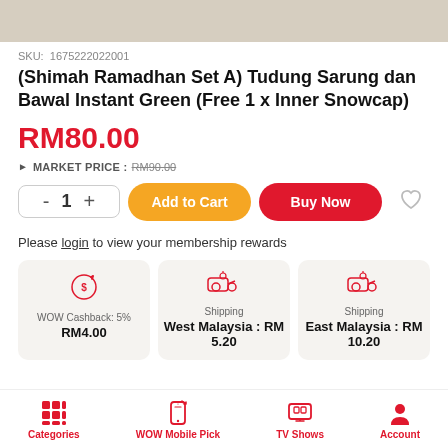[Figure (photo): Product image top banner (beige/tan background)]
SKU: 1675222022001
(Shimah Ramadhan Set A) Tudung Sarung dan Bawal Instant Green (Free 1 x Inner Snowcap)
RM80.00
MARKET PRICE : RM90.00
- 1 + Add to Cart Buy Now
Please login to view your membership rewards
WOW Cashback: 5% RM4.00
Shipping West Malaysia : RM 5.20
Shipping East Malaysia : RM 10.20
Categories | WOW Mobile Pick | TV Shows | Account